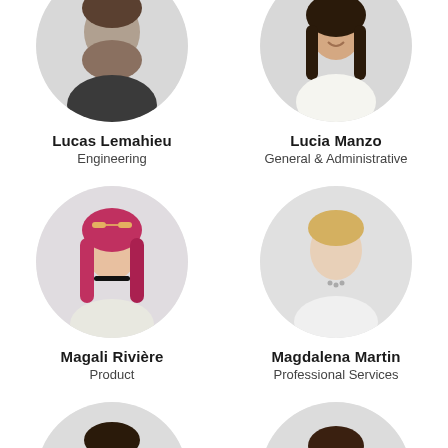[Figure (photo): Circular portrait photo of Lucas Lemahieu, partially cropped at top]
Lucas Lemahieu
Engineering
[Figure (photo): Circular portrait photo of Lucia Manzo, partially cropped at top]
Lucia Manzo
General & Administrative
[Figure (photo): Circular portrait photo of Magali Rivière, woman with red/pink hair]
Magali Rivière
Product
[Figure (photo): Circular portrait photo of Magdalena Martin, woman with blonde hair]
Magdalena Martin
Professional Services
[Figure (photo): Circular portrait photo, man with beard, partially cropped at bottom]
[Figure (photo): Circular portrait photo, woman with dark hair, partially cropped at bottom]